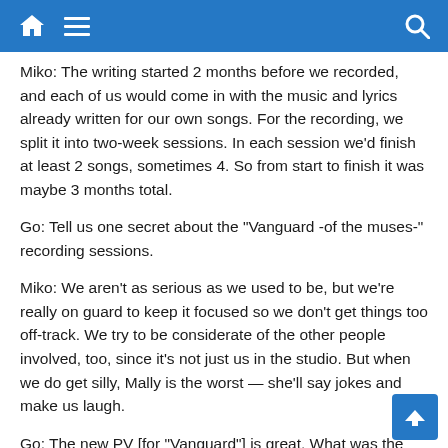Home Menu Search
Miko: The writing started 2 months before we recorded, and each of us would come in with the music and lyrics already written for our own songs. For the recording, we split it into two-week sessions. In each session we'd finish at least 2 songs, sometimes 4. So from start to finish it was maybe 3 months total.
Go: Tell us one secret about the "Vanguard -of the muses-" recording sessions.
Miko: We aren't as serious as we used to be, but we're really on guard to keep it focused so we don't get things too off-track. We try to be considerate of the other people involved, too, since it's not just us in the studio. But when we do get silly, Mally is the worst — she'll say jokes and make us laugh.
Go: The new PV [for "Vanguard"] is great. What was the most fun thing about the shoot?